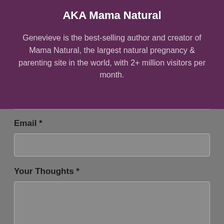AKA Mama Natural
Genevieve is the best-selling author and creator of Mama Natural, the largest natural pregnancy & parenting site in the world, with 2+ million visitors per month.
Email *
[Figure (other): Empty email input text field]
Your Thoughts *
[Figure (other): Empty textarea input field for user thoughts]